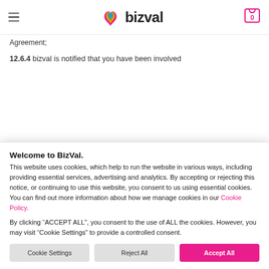bizval navigation header with hamburger menu and cart icon
Agreement;
12.6.4 bizval is notified that you have been involved
Welcome to BizVal.
This website uses cookies, which help to run the website in various ways, including providing essential services, advertising and analytics. By accepting or rejecting this notice, or continuing to use this website, you consent to us using essential cookies. You can find out more information about how we manage cookies in our Cookie Policy.
By clicking “ACCEPT ALL”, you consent to the use of ALL the cookies. However, you may visit “Cookie Settings” to provide a controlled consent.
Cookie Settings
Reject All
Accept All